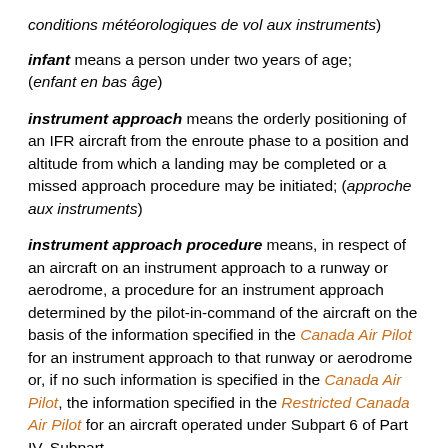conditions météorologiques de vol aux instruments)
infant  means a person under two years of age; (enfant en bas âge)
instrument approach  means the orderly positioning of an IFR aircraft from the enroute phase to a position and altitude from which a landing may be completed or a missed approach procedure may be initiated;  (approche aux instruments)
instrument approach procedure  means, in respect of an aircraft on an instrument approach to a runway or aerodrome, a procedure for an instrument approach determined by the pilot-in-command of the aircraft on the basis of the information specified in the Canada Air Pilot for an instrument approach to that runway or aerodrome or, if no such information is specified in the Canada Air Pilot, the information specified in the Restricted Canada Air Pilot for an aircraft operated under Subpart 6 of Part IV, Subpart